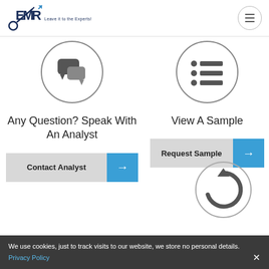EMR - Leave it to the Experts!
[Figure (illustration): Chat/speech bubble icon inside a circle (left)]
[Figure (illustration): Bullet list icon inside a circle (right)]
Any Question? Speak With An Analyst
View A Sample
[Figure (illustration): Contact Analyst button with gray label and blue arrow]
[Figure (illustration): Request Sample button with gray label and blue arrow]
[Figure (illustration): Refresh/reload icon inside a circle (bottom right)]
We use cookies, just to track visits to our website, we store no personal details. Privacy Policy X